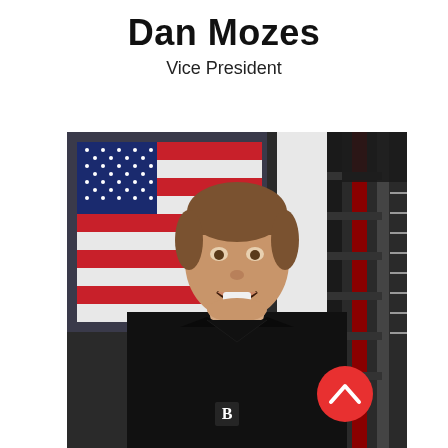Dan Mozes
Vice President
[Figure (photo): Professional headshot of Dan Mozes, a young man wearing a black polo shirt with a 'B' logo, smiling in front of an American flag and gym equipment (weight rack). A red circular scroll-up button with a chevron arrow is overlaid in the lower right of the photo.]